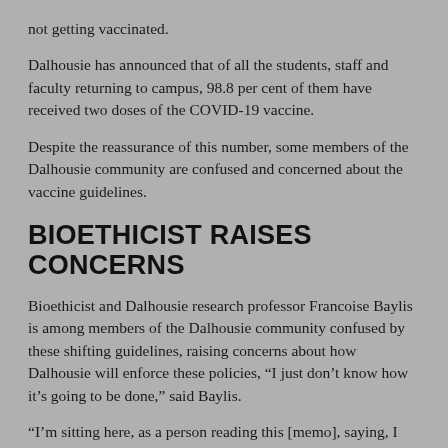not getting vaccinated.
Dalhousie has announced that of all the students, staff and faculty returning to campus, 98.8 per cent of them have received two doses of the COVID-19 vaccine.
Despite the reassurance of this number, some members of the Dalhousie community are confused and concerned about the vaccine guidelines.
BIOETHICIST RAISES CONCERNS
Bioethicist and Dalhousie research professor Francoise Baylis is among members of the Dalhousie community confused by these shifting guidelines, raising concerns about how Dalhousie will enforce these policies, “I just don’t know how it’s going to be done,” said Baylis.
“I’m sitting here, as a person reading this [memo], saying, I don’t actually understand how the